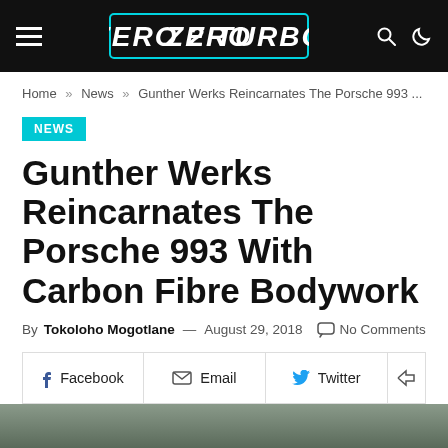ZERO 2 TURBO — navigation header with hamburger menu, logo, search and dark mode icons
Home » News » Gunther Werks Reincarnates The Porsche 993 ...
NEWS
Gunther Werks Reincarnates The Porsche 993 With Carbon Fibre Bodywork
By Tokoloho Mogotlane — August 29, 2018  No Comments
Facebook  Email  Twitter  Share